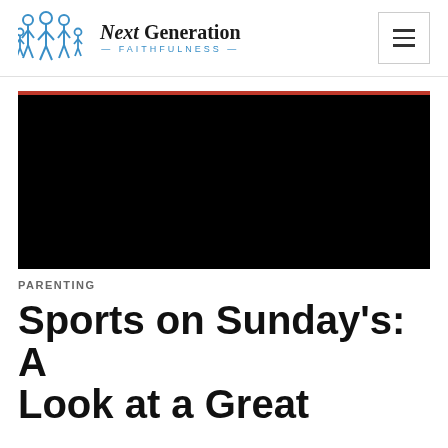Next Generation FAITHFULNESS
[Figure (screenshot): Black video player area with a red progress bar at top]
PARENTING
Sports on Sunday's: A Look at a Great